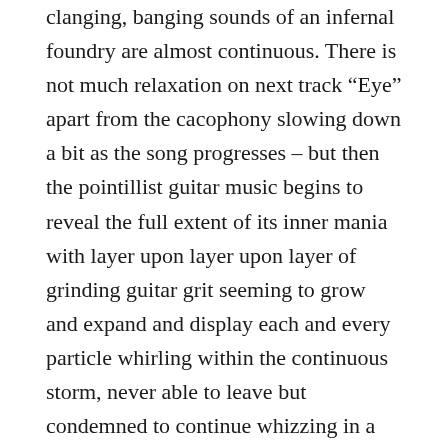clanging, banging sounds of an infernal foundry are almost continuous. There is not much relaxation on next track “Eye” apart from the cacophony slowing down a bit as the song progresses – but then the pointillist guitar music begins to reveal the full extent of its inner mania with layer upon layer upon layer of grinding guitar grit seeming to grow and expand and display each and every particle whirling within the continuous storm, never able to leave but condemned to continue whizzing in a giant sound tornado for eternity.
With each succeeding track the storm does not change a great deal – it’s what the Portal men do in shaping the continuous layers of sound that, in the way they change rhythms and beats and use those changes to give songs